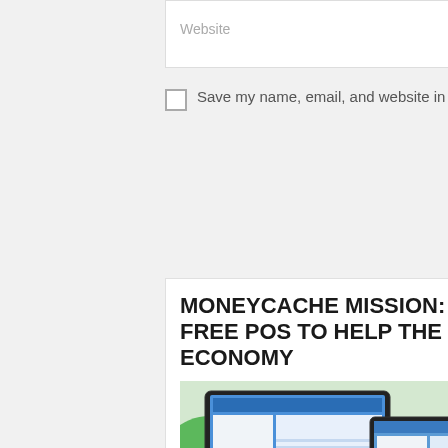Website
Save my name, email, and website in this browser for the next time I comment.
SUBMIT
MONEYCACHE MISSION: FREE POS TO HELP THE ECONOMY
[Figure (infographic): MoneyCache POS advertisement banner showing laptops, tablet, and smartphone with the text: MONITOR YOUR SALES WITH MoneyCache - GET YOUR FREE ACCOUNT NOW! Comes with Free Online Store. Also available in App Store and Google Play.]
Mga higala! Our partner, Moneycache POS is